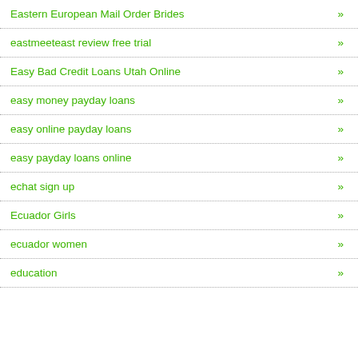Eastern European Mail Order Brides »
eastmeeteast review free trial »
Easy Bad Credit Loans Utah Online »
easy money payday loans »
easy online payday loans »
easy payday loans online »
echat sign up »
Ecuador Girls »
ecuador women »
education »